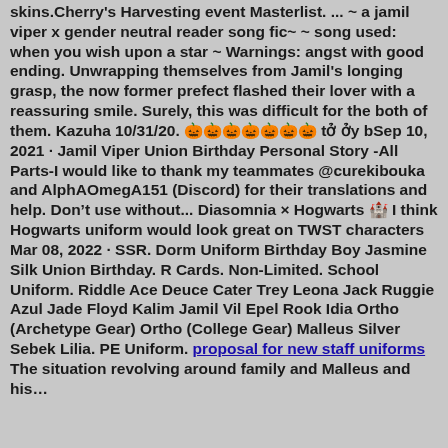skins.Cherry's Harvesting event Masterlist. ... ~ a jamil viper x gender neutral reader song fic~ ~ song used: when you wish upon a star ~ Warnings: angst with good ending. Unwrapping themselves from Jamil's longing grasp, the now former prefect flashed their lover with a reassuring smile. Surely, this was difficult for the both of them. Kazuha 10/31/20. 🎃🎃🎃🎃🎃🎃🎃 tở ởy bSep 10, 2021 · Jamil Viper Union Birthday Personal Story -All Parts-I would like to thank my teammates @curekibouka and AlphAOmegA151 (Discord) for their translations and help. Don't use without... Diasomnia × Hogwarts 🏰 I think Hogwarts uniform would look great on TWST characters Mar 08, 2022 · SSR. Dorm Uniform Birthday Boy Jasmine Silk Union Birthday. R Cards. Non-Limited. School Uniform. Riddle Ace Deuce Cater Trey Leona Jack Ruggie Azul Jade Floyd Kalim Jamil Vil Epel Rook Idia Ortho (Archetype Gear) Ortho (College Gear) Malleus Silver Sebek Lilia. PE Uniform. proposal for new staff uniforms The situation revolving around family and Malleus and his...